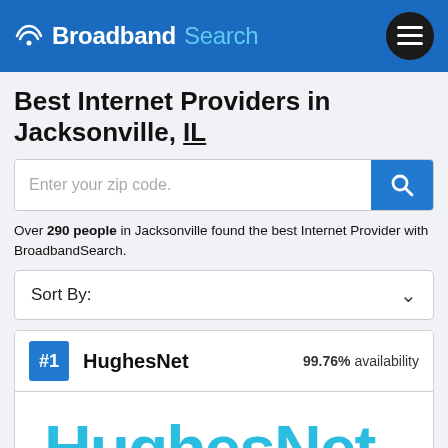Broadband Search
Best Internet Providers in Jacksonville, IL
Enter your zip code.
Over 290 people in Jacksonville found the best Internet Provider with BroadbandSearch.
Sort By:
#1 HughesNet 99.76% availability
[Figure (logo): HughesNet logo in large cyan/teal bold text]
Speed up to:   Price from:   User Review: